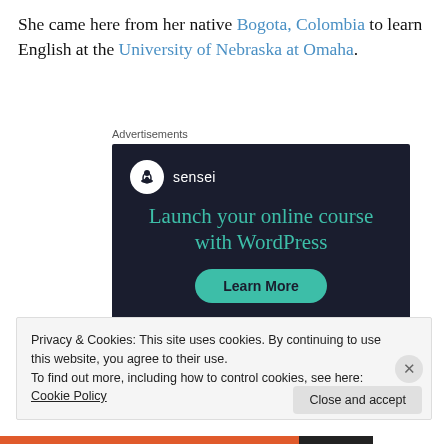She came here from her native Bogota, Colombia to learn English at the University of Nebraska at Omaha.
Advertisements
[Figure (screenshot): Sensei advertisement banner with dark navy background, sensei logo (tree icon in white circle), teal headline 'Launch your online course with WordPress', and a teal 'Learn More' button]
Privacy & Cookies: This site uses cookies. By continuing to use this website, you agree to their use.
To find out more, including how to control cookies, see here: Cookie Policy
Close and accept